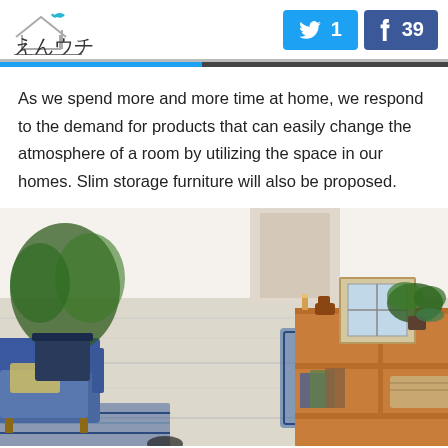えんウチ | Twitter: 1 | Facebook: 39
As we spend more and more time at home, we respond to the demand for products that can easily change the atmosphere of a room by utilizing the space in our homes. Slim storage furniture will also be proposed.
[Figure (photo): Overhead/aerial view of a modern living room with wooden shelving unit displaying decorative items, a blue armchair, houseplant, and area rug on a light wood floor.]